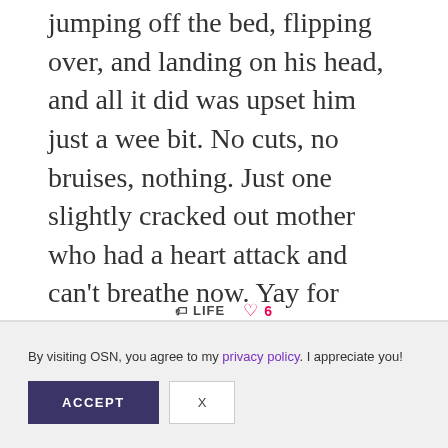jumping off the bed, flipping over, and landing on his head, and all it did was upset him just a wee bit. No cuts, no bruises, nothing. Just one slightly cracked out mother who had a heart attack and can't breathe now. Yay for toddlerhood!
🏷 LIFE ♡ 6
By visiting OSN, you agree to my privacy policy. I appreciate you!